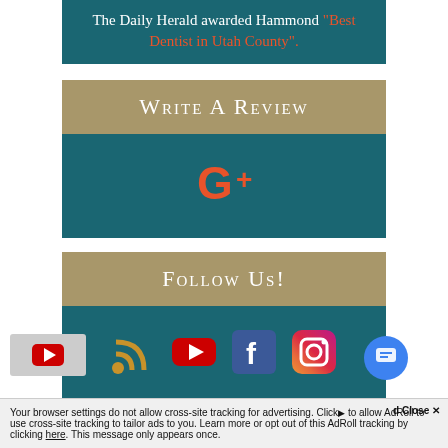The Daily Herald awarded Hammond "Best Dentist in Utah County".
Write A Review
[Figure (logo): Google Plus (G+) icon in red/orange color]
Follow Us!
[Figure (infographic): Social media icons: RSS feed (gold), YouTube (red), Facebook (blue), Instagram (gradient)]
Your browser settings do not allow cross-site tracking for advertising. Click [here] to allow AdRoll to use cross-site tracking to tailor ads to you. Learn more or opt out of this AdRoll tracking by clicking here. This message only appears once.